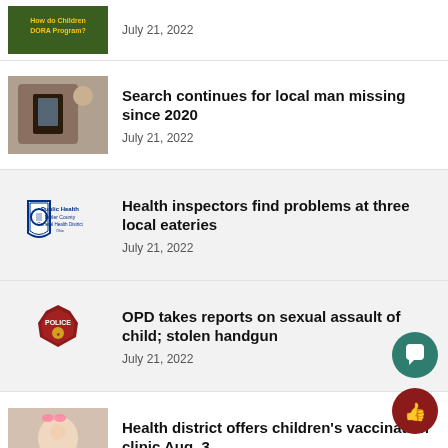July 21, 2022
Search continues for local man missing since 2020
July 21, 2022
Health inspectors find problems at three local eateries
July 21, 2022
OPD takes reports on sexual assault of child; stolen handgun
July 21, 2022
Health district offers children's vaccination clinic Aug. 3
July 21, 2022